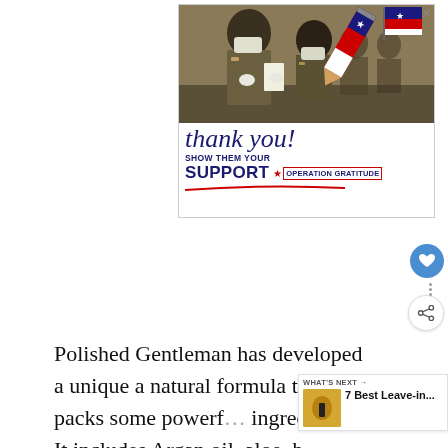[Figure (photo): Advertisement banner for Operation Gratitude showing military personnel in camouflage uniforms and face masks, with a patriotic pencil graphic. Text reads 'thank you! SHOW THEM YOUR SUPPORT OPERATION GRATITUDE']
Polished Gentleman has developed a unique a natural formula that packs some powerful ingredients. It includes Argan oil, aloe, b... manuka honey, and tea tree oil, to name a few.